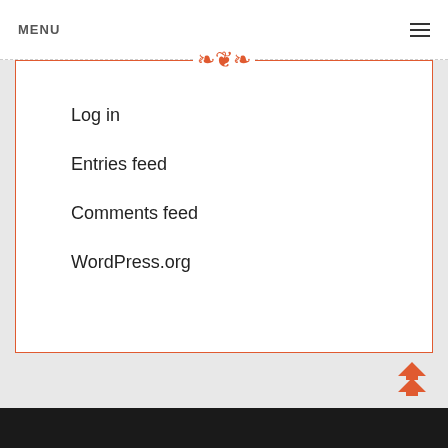MENU
Log in
Entries feed
Comments feed
WordPress.org